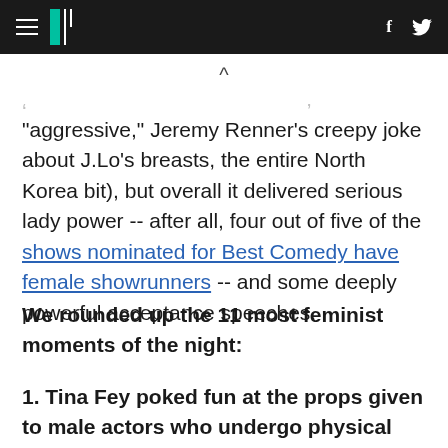HuffPost navigation header with hamburger menu, logo, facebook and twitter icons
"aggressive," Jeremy Renner's creepy joke about J.Lo's breasts, the entire North Korea bit), but overall it delivered serious lady power -- after all, four out of five of the shows nominated for Best Comedy have female showrunners -- and some deeply powerful acceptance speeches.
We rounded up the 11 most feminist moments of the night:
1. Tina Fey poked fun at the props given to male actors who undergo physical